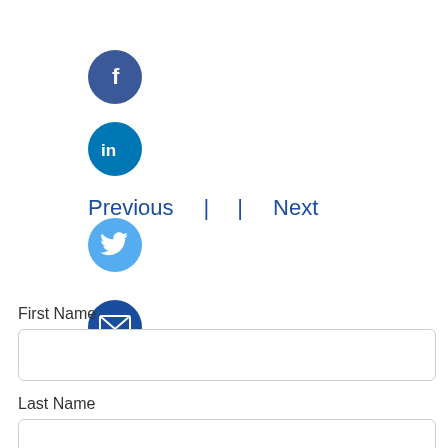[Figure (logo): Facebook circular icon, dark blue background with white 'f' letter]
[Figure (logo): LinkedIn circular icon, teal/blue background with white 'in' text]
Previous | | Next
[Figure (logo): Twitter circular icon, light blue background with white bird logo]
[Figure (logo): Email circular icon, dark blue background with white envelope]
First Name
Last Name